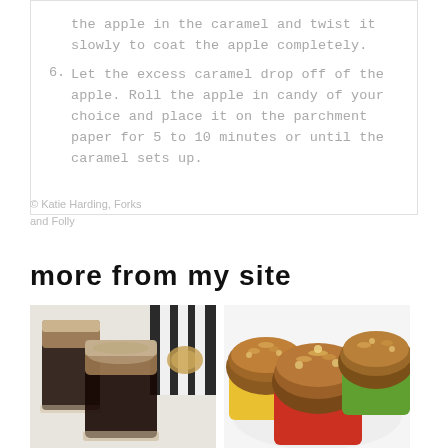the apple in the caramel and twist it slowly to coat the apple completely.
6. Let the excess caramel drop off of the apple. Roll the apple in candy of your choice and place it on the parchment paper for 5 to 10 minutes or until the caramel sets up.
© Katie Harding, Forks and Folly
more from my site
[Figure (photo): Two glass cups of layered coffee drink with cream, with cookies in background]
[Figure (photo): Several muffins with streusel topping in colorful cupcake liners on a white plate]